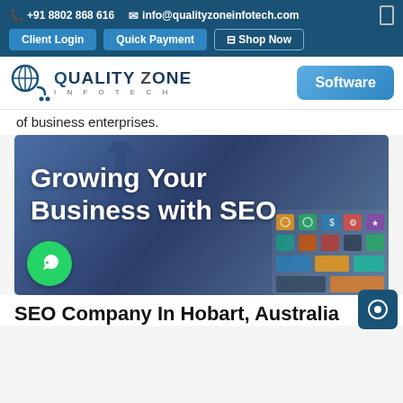+91 8802 868 616  info@qualityzoneinfotech.com  Client Login  Quick Payment  Shop Now
[Figure (logo): Quality Zone Infotech logo with shopping cart icon and 'Software' button]
of business enterprises.
[Figure (photo): Banner image with text 'Growing Your Business with SEO' overlaid on a photo of a hand writing, with colorful SEO/digital marketing icons on the right and a WhatsApp button on the bottom left]
SEO Company In Hobart, Australia